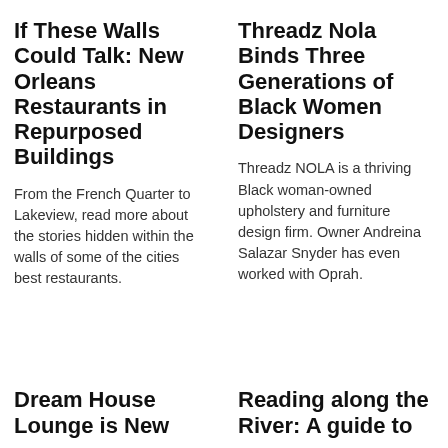If These Walls Could Talk: New Orleans Restaurants in Repurposed Buildings
From the French Quarter to Lakeview, read more about the stories hidden within the walls of some of the cities best restaurants.
Threadz Nola Binds Three Generations of Black Women Designers
Threadz NOLA is a thriving Black woman-owned upholstery and furniture design firm. Owner Andreina Salazar Snyder has even worked with Oprah.
Dream House Lounge is New
Reading along the River: A guide to